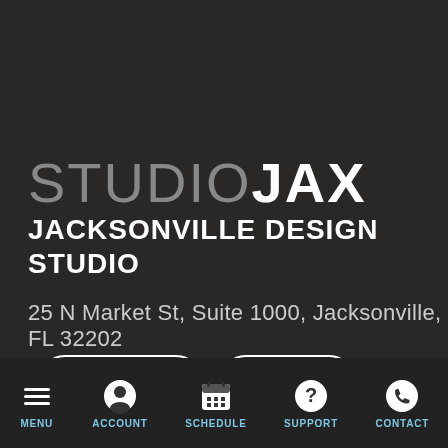STUDIO JAX
JACKSONVILLE DESIGN STUDIO
25 N Market St, Suite 1000, Jacksonville, FL 32202
Directions
Review
MENU  ACCOUNT  SCHEDULE  SUPPORT  CONTACT